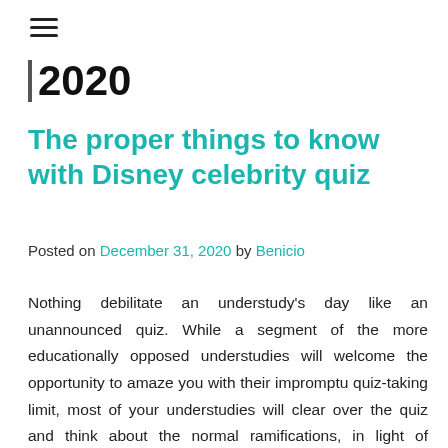≡
2020
The proper things to know with Disney celebrity quiz
Posted on December 31, 2020 by Benicio
Nothing debilitate an understudy's day like an unannounced quiz. While a segment of the more educationally opposed understudies will welcome the opportunity to amaze you with their impromptu quiz-taking limit, most of your understudies will clear over the quiz and think about the normal ramifications, in light of everything, day long. So when you are having one of those days where you have a tendency that you are stuck in a sand trap and doing combating is simply